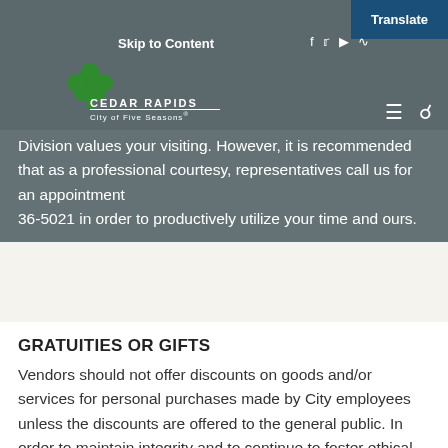Cedar Rapids – City of Five Seasons | Skip to Content | Translate
Division values your visiting. However, it is recommended that as a professional courtesy, representatives call us for an appointment 36-5021 in order to productively utilize your time and ours.
GRATUITIES OR GIFTS
Vendors should not offer discounts on goods and/or services for personal purchases made by City employees unless the discounts are offered to the general public. In order to maintain integrity and to continue to foster ethical and equal opportunities among the business community, City employees and City departments are prohibited from accepting any gratuities, in any form, from any vendor or potential vendor either directly or indirectly. For more detailed information, please refer to